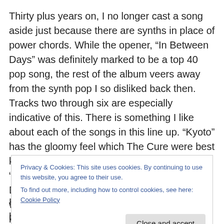Thirty plus years on, I no longer cast a song aside just because there are synths in place of power chords. While the opener, “In Between Days” was definitely marked to be a top 40 pop song, the rest of the album veers away from the synth pop I so disliked back then. Tracks two through six are especially indicative of this. There is something I like about each of the songs in this line up. “Kyoto” has the gloomy feel which The Cure were best known for and it’s even more the case with “The Blood,” which I like even more. “Six Different Ways” has an acoustic guitar intro which sucks me in and the rest of the track keeps my
Privacy & Cookies: This site uses cookies. By continuing to use this website, you agree to their use.
To find out more, including how to control cookies, see here: Cookie Policy
However, in this case, harder does not mean better and